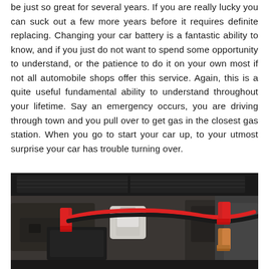be just so great for several years. If you are really lucky you can suck out a few more years before it requires definite replacing. Changing your car battery is a fantastic ability to know, and if you just do not want to spend some opportunity to understand, or the patience to do it on your own most if not all automobile shops offer this service. Again, this is a quite useful fundamental ability to understand throughout your lifetime. Say an emergency occurs, you are driving through town and you pull over to get gas in the closest gas station. When you go to start your car up, to your utmost surprise your car has trouble turning over.
[Figure (photo): A car engine compartment showing jumper cables (red and black) with clamps attached to the car battery terminals, with the hood open.]